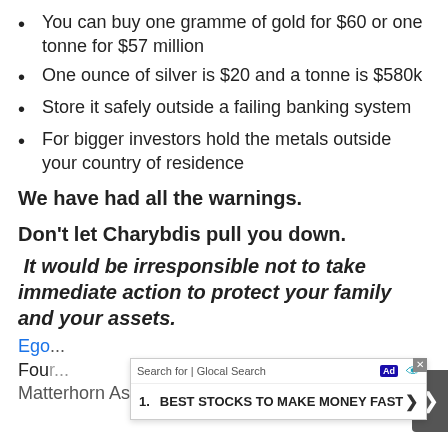You can buy one gramme of gold for $60 or one tonne for $57 million
One ounce of silver is $20 and a tonne is $580k
Store it safely outside a failing banking system
For bigger investors hold the metals outside your country of residence
We have had all the warnings.
Don't let Charybdis pull you down.
It would be irresponsible not to take immediate action to protect your family and your assets.
Ego [Von Greyerz]
Founder
Matterhorn Asset Management